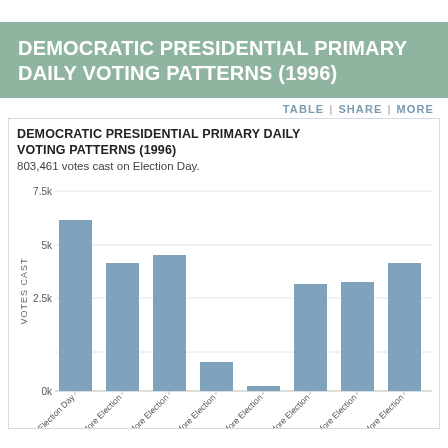DEMOCRATIC PRESIDENTIAL PRIMARY DAILY VOTING PATTERNS (1996)
TABLE | SHARE | MORE
[Figure (bar-chart): 803,461 votes cast on Election Day.]